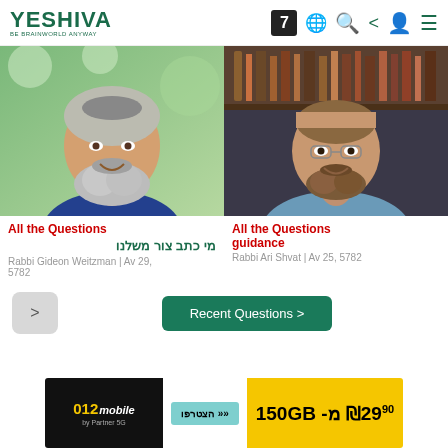YESHIVA | BE BRAINWORLD ANYWAY | 7 [globe] [search] [share] [user] [menu]
[Figure (photo): Portrait photo of Rabbi Gideon Weitzman, bearded man with grey beard smiling outdoors with green foliage background]
All the Questions מי כתב צור משלנו
Rabbi Gideon Weitzman | Av 29, 5782
[Figure (photo): Portrait photo of Rabbi Ari Shvat, bearded man smiling indoors with bookshelves in background]
All the Questions guidance
Rabbi Ari Shvat | Av 25, 5782
Recent Questions >
[Figure (other): Advertisement banner for 012 mobile by Partner 5G: 150GB מ-₪29.90 with a teal button showing << הצטרפו]